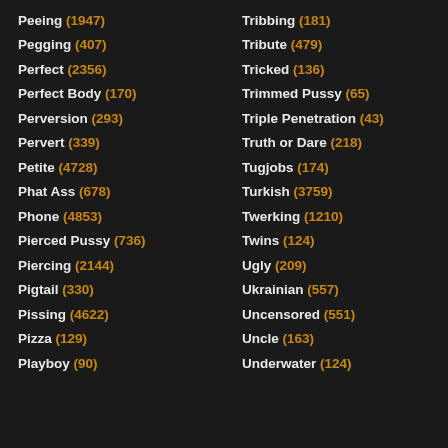Peeing (1947)
Pegging (407)
Perfect (2356)
Perfect Body (170)
Perversion (293)
Pervert (339)
Petite (4728)
Phat Ass (678)
Phone (4853)
Pierced Pussy (736)
Piercing (2144)
Pigtail (330)
Pissing (4622)
Pizza (129)
Playboy (90)
Tribbing (181)
Tribute (479)
Tricked (136)
Trimmed Pussy (65)
Triple Penetration (43)
Truth or Dare (218)
Tugjobs (174)
Turkish (3759)
Twerking (1210)
Twins (124)
Ugly (209)
Ukrainian (557)
Uncensored (551)
Uncle (163)
Underwater (124)